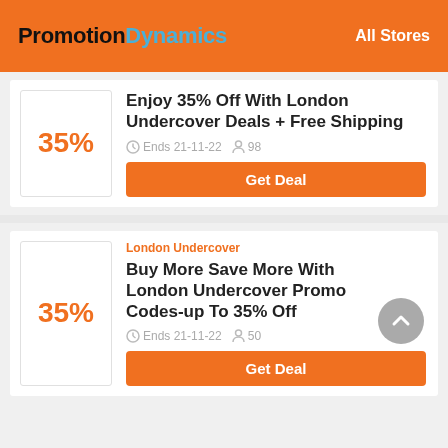PromotionDynamics  All Stores
35%
Enjoy 35% Off With London Undercover Deals + Free Shipping
Ends 21-11-22   98
Get Deal
London Undercover
35%
Buy More Save More With London Undercover Promo Codes-up To 35% Off
Ends 21-11-22   50
Get Deal